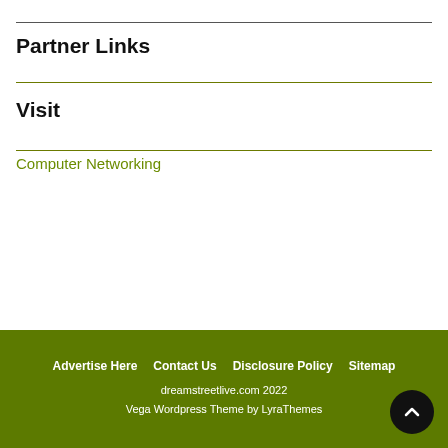Partner Links
Visit
Computer Networking
Advertise Here  Contact Us  Disclosure Policy  Sitemap
dreamstreetlive.com 2022
Vega Wordpress Theme by LyraThemes